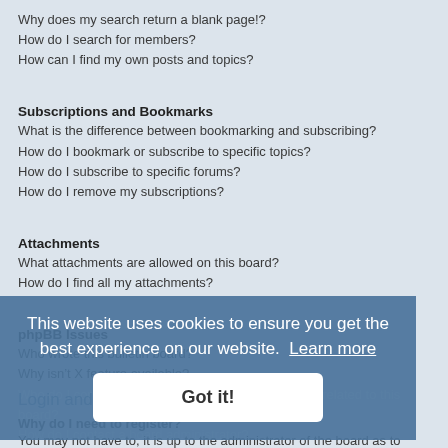Why does my search return a blank page!?
How do I search for members?
How can I find my own posts and topics?
Subscriptions and Bookmarks
What is the difference between bookmarking and subscribing?
How do I bookmark or subscribe to specific topics?
How do I subscribe to specific forums?
How do I remove my subscriptions?
Attachments
What attachments are allowed on this board?
How do I find all my attachments?
phpBB Issues
Who wrote this bulletin board?
Why isn’t X feature available?
Who do I contact about abusive and/or legal matters related to this board?
How do I contact a board administrator?
This website uses cookies to ensure you get the best experience on our website. Learn more
Got it!
Login and Registration Issues
Why do I need to register?
You may not have to, it is up to the administrator of the board as to whether you need to register in order to post messages. However, registration will give you